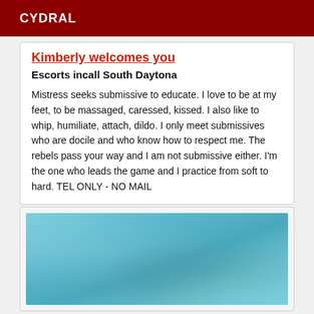CYDRAL
Kimberly welcomes you
Escorts incall South Daytona
Mistress seeks submissive to educate. I love to be at my feet, to be massaged, caressed, kissed. I also like to whip, humiliate, attach, dildo. I only meet submissives who are docile and who know how to respect me. The rebels pass your way and I am not submissive either. I'm the one who leads the game and I practice from soft to hard. TEL ONLY - NO MAIL
[Figure (photo): Blurry teal/blue textured background image, possibly water or fabric]